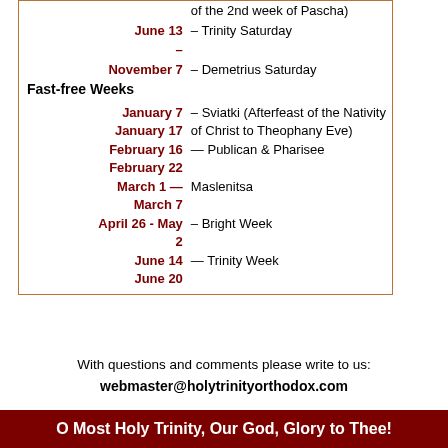|  | of the 2nd week of Pascha) |
| June 13 | – Trinity Saturday |
| – |  |
| November 7 | – Demetrius Saturday |
| Fast-free Weeks |  |
| January 7 - January 17 | – Sviatki (Afterfeast of the Nativity of Christ to Theophany Eve) |
| February 16 February 22 | — Publican & Pharisee |
| March 1 — March 7 | — Maslenitsa |
| April 26 - May 2 | – Bright Week |
| June 14 June 20 | — Trinity Week |
With questions and comments please write to us: webmaster@holytrinityorthodox.com
O Most Holy Trinity, Our God, Glory to Thee!